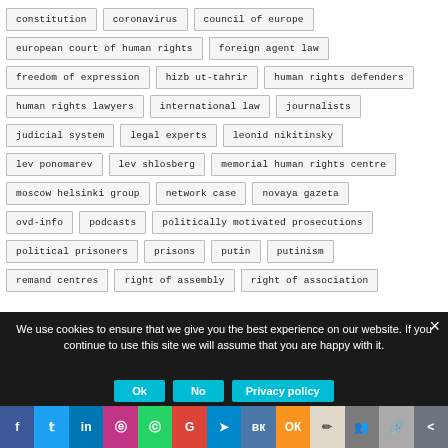constitution
coronavirus
council of europe
european court of human rights
foreign agent law
freedom of expression
hizb ut-tahrir
human rights defenders
human rights lawyers
international law
journalists
judicial system
legal experts
leonid nikitinsky
lev ponomarev
lev shlosberg
memorial human rights centre
moscow helsinki group
network case
novaya gazeta
ovd-info
podcasts
politically motivated prosecutions
political prisoners
prisons
putin
putinism
remand centres
right of assembly
right of association
We use cookies to ensure that we give you the best experience on our website. If you continue to use this site we will assume that you are happy with it.
Ok | No | Privacy policy